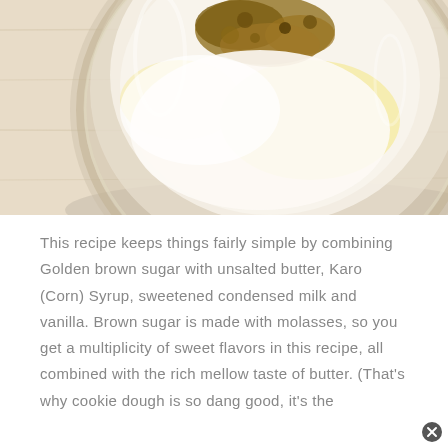[Figure (photo): Top-down view of a glass mixing bowl on a light wood surface, containing butter, brown sugar, and other baking ingredients being combined]
This recipe keeps things fairly simple by combining Golden brown sugar with unsalted butter, Karo (Corn) Syrup, sweetened condensed milk and vanilla. Brown sugar is made with molasses, so you get a multiplicity of sweet flavors in this recipe, all combined with the rich mellow taste of butter. (That's why cookie dough is so dang good, it's the